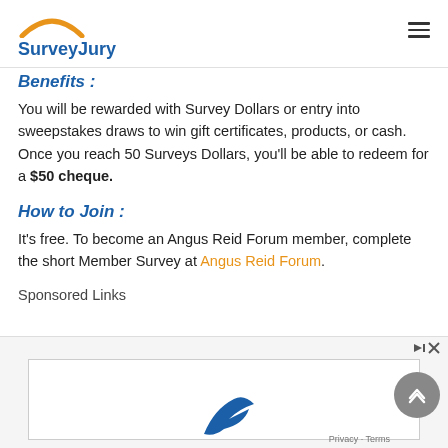SurveyJury
Benefits :
You will be rewarded with Survey Dollars or entry into sweepstakes draws to win gift certificates, products, or cash. Once you reach 50 Surveys Dollars, you'll be able to redeem for a $50 cheque.
How to Join :
It's free. To become an Angus Reid Forum member, complete the short Member Survey at Angus Reid Forum.
Sponsored Links
[Figure (screenshot): Advertisement area at the bottom of the page with a blue brand logo partially visible and a scroll-up button]